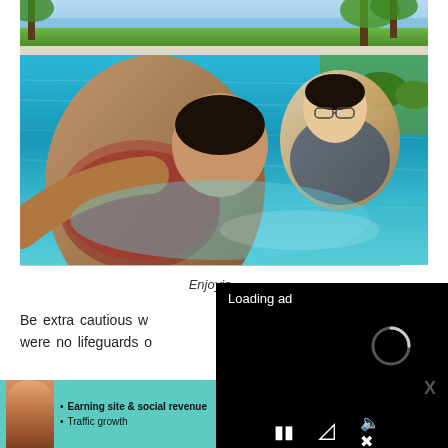[Figure (photo): Two people swimming in a resort pool, taking a selfie. Man in foreground on the left, woman in background on the right. Tropical resort setting with palm trees, grass, and ocean visible in the background.]
Enjoying...
Be extra cautious w... were no lifeguards o...
2. Have a yoga session at the treehouse
[Figure (screenshot): Video ad overlay with black background showing 'Loading ad' text, a spinning loading circle, and video controls (pause, fullscreen, mute) at the bottom.]
[Figure (infographic): SHE Partner Network advertisement banner with woman, bullet points about earning site & social revenue and traffic growth, SHE logo, and LEARN MORE button.]